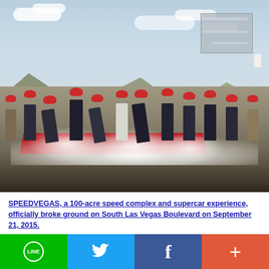[Figure (photo): Groundbreaking ceremony for SPEEDVEGAS on South Las Vegas Boulevard. A group of people wearing red hard hats are shoveling dirt/ground, creating clouds of white dust. They stand on a red carpet in a desert landscape with mountains in the background and a cloudy sky. A sign/backdrop is visible behind the group.]
SPEEDVEGAS, a 100-acre speed complex and supercar experience, officially broke ground on South Las Vegas Boulevard on September 21, 2015.